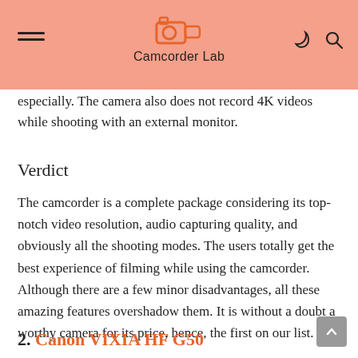Camcorder Lab
especially. The camera also does not record 4K videos while shooting with an external monitor.
Verdict
The camcorder is a complete package considering its top-notch video resolution, audio capturing quality, and obviously all the shooting modes. The users totally get the best experience of filming while using the camcorder. Although there are a few minor disadvantages, all these amazing features overshadow them. It is without a doubt a worthy camera for its price, hence, the first on our list.
2. Canon VIXIA HF G50